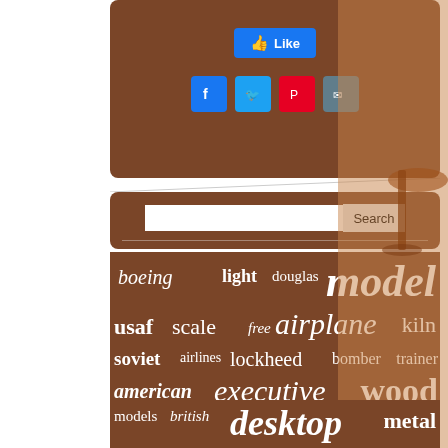[Figure (screenshot): Social media Like button and share icons (Facebook, Twitter, Pinterest, Email) on brown background]
[Figure (screenshot): Search bar with text input and Search button on brown background]
[Figure (infographic): Tag cloud with aviation/model airplane related keywords in varying sizes on brown background: model, airplane, boeing, light, douglas, usaf, scale, free, kiln, soviet, airlines, lockheed, bomber, trainer, american, executive, wood, large, navy, fighter, aircraft, models, british, desktop, metal, vintage, plane, regular, wooden, small, shipping, display, desk]